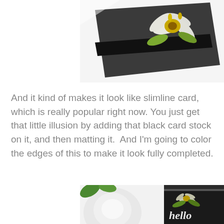[Figure (photo): Top portion of a greeting card with a sunflower design on black card stock, viewed at an angle on a white surface]
And it kind of makes it look like slimline card, which is really popular right now. You just get that little illusion by adding that black card stock on it, and then matting it.  And I'm going to color the edges of this to make it look fully completed.
[Figure (photo): Bottom photo showing a white rose flower on the left and a black greeting card with 'hello' text and sunflower design on the right]